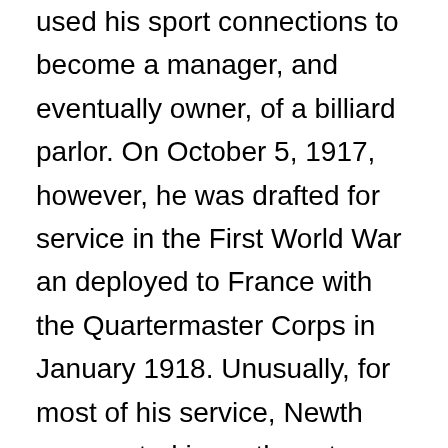used his sport connections to become a manager, and eventually owner, of a billiard parlor. On October 5, 1917, however, he was drafted for service in the First World War an deployed to France with the Quartermaster Corps in January 1918. Unusually, for most of his service, Newth was posted in northwestern France (Abbeville, Amiens, Rouen) as a disbursement officer for American troops serving with the British Expeditionary Force an then disbursing to the wounded in base hospitals. He was promoted to Corporal in May 1918, and ended his overseas service in May 1919 as a Sergeant working with the Quartermaster's financial